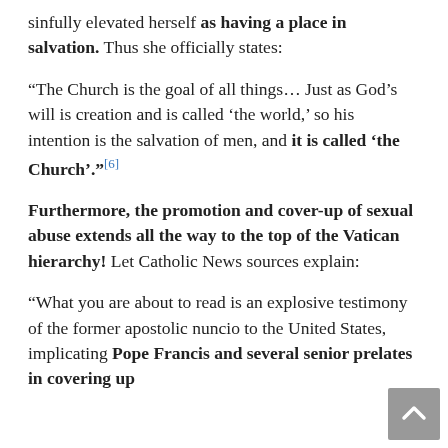sinfully elevated herself as having a place in salvation. Thus she officially states:
“The Church is the goal of all things… Just as God’s will is creation and is called ‘the world,’ so his intention is the salvation of men, and it is called ‘the Church’.”[6]
Furthermore, the promotion and cover-up of sexual abuse extends all the way to the top of the Vatican hierarchy! Let Catholic News sources explain:
“What you are about to read is an explosive testimony of the former apostolic nuncio to the United States, implicating Pope Francis and several senior prelates in covering up